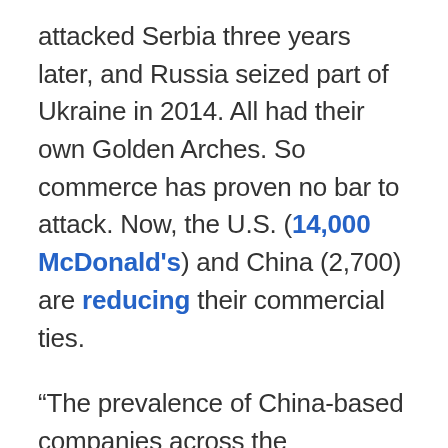attacked Serbia three years later, and Russia seized part of Ukraine in 2014. All had their own Golden Arches. So commerce has proven no bar to attack. Now, the U.S. (14,000 McDonald's) and China (2,700) are reducing their commercial ties.
“The prevalence of China-based companies across the Department’s supplier base will make it difficult to identify with certainty all of the cases where they are a single-source provider of a key technology or material,” Govini reports. Just like with COVID-19, that means we’ll likely only learn that key